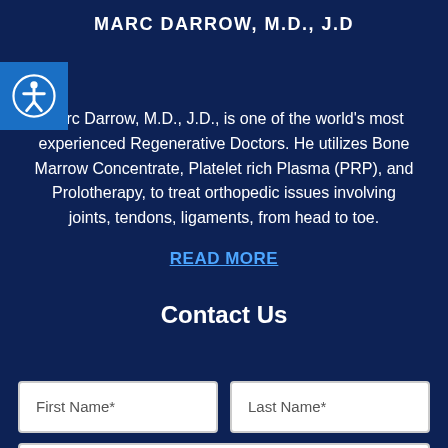MARC DARROW, M.D., J.D
Marc Darrow, M.D., J.D., is one of the world's most experienced Regenerative Doctors. He utilizes Bone Marrow Concentrate, Platelet rich Plasma (PRP), and Prolotherapy, to treat orthopedic issues involving joints, tendons, ligaments, from head to toe.
READ MORE
Contact Us
First Name*
Last Name*
Email Address*